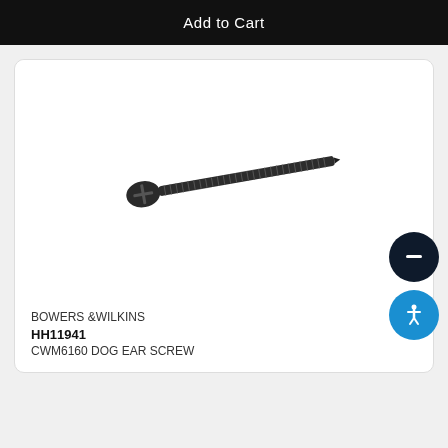Add to Cart
[Figure (photo): A single black pan-head screw (CWM6160 Dog Ear Screw) shown diagonally on a white background. The screw is elongated with visible threading along the shaft.]
BOWERS &WILKINS
HH11941
CWM6160 DOG EAR SCREW